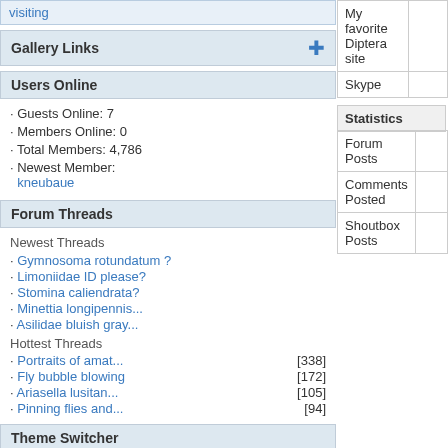visiting
Gallery Links
Users Online
· Guests Online: 7
· Members Online: 0
· Total Members: 4,786
· Newest Member: kneubaue
Forum Threads
Newest Threads
· Gymnosoma rotundatum ?
· Limoniidae ID please?
· Stomina caliendrata?
· Minettia longipennis...
· Asilidae bluish gray...
Hottest Threads
· Portraits of amat...  [338]
· Fly bubble blowing  [172]
· Ariasella lusitan...  [105]
· Pinning flies and...   [94]
Theme Switcher
Switch to: SimpleAsThat
Last Seen Users
· Reimund Ley  00:29:09
· Gunther  01:02:22
· Iguez  01:02:47
| Field | Value |
| --- | --- |
| My favorite Diptera site |  |
| Skype |  |
Statistics
| Field | Value |
| --- | --- |
| Forum Posts |  |
| Comments Posted |  |
| Shoutbox Posts |  |